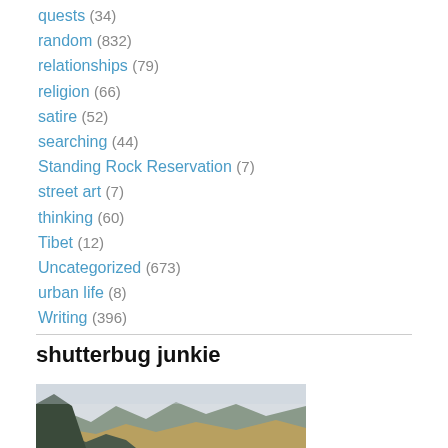quests (34)
random (832)
relationships (79)
religion (66)
satire (52)
searching (44)
Standing Rock Reservation (7)
street art (7)
thinking (60)
Tibet (12)
Uncategorized (673)
urban life (8)
Writing (396)
shutterbug junkie
[Figure (photo): Landscape photo showing rolling hills and mountains under a light overcast sky]